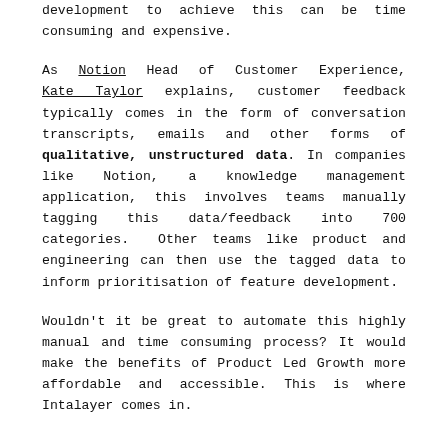development to achieve this can be time consuming and expensive.
As Notion Head of Customer Experience, Kate Taylor explains, customer feedback typically comes in the form of conversation transcripts, emails and other forms of qualitative, unstructured data. In companies like Notion, a knowledge management application, this involves teams manually tagging this data/feedback into 700 categories.  Other teams like product and engineering can then use the tagged data to inform prioritisation of feature development.
Wouldn't it be great to automate this highly manual and time consuming process? It would make the benefits of Product Led Growth more affordable and accessible. This is where Intalayer comes in.